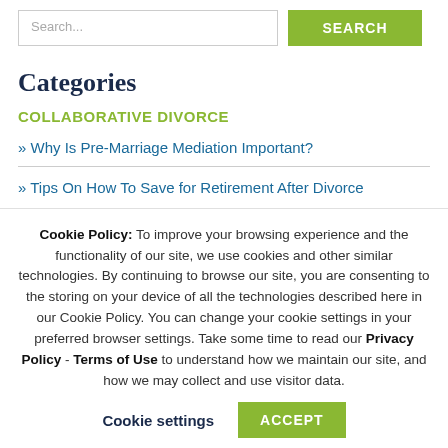Search...  SEARCH
Categories
COLLABORATIVE DIVORCE
» Why Is Pre-Marriage Mediation Important?
» Tips On How To Save for Retirement After Divorce
Cookie Policy: To improve your browsing experience and the functionality of our site, we use cookies and other similar technologies. By continuing to browse our site, you are consenting to the storing on your device of all the technologies described here in our Cookie Policy. You can change your cookie settings in your preferred browser settings. Take some time to read our Privacy Policy - Terms of Use to understand how we maintain our site, and how we may collect and use visitor data.  Cookie settings   ACCEPT